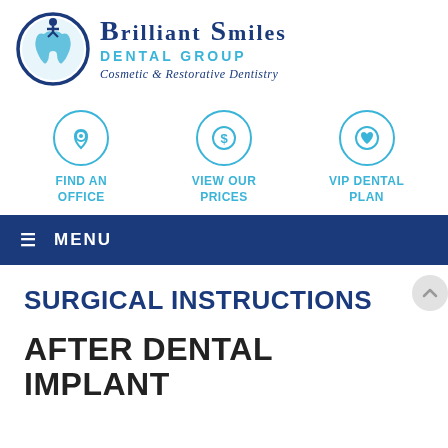[Figure (logo): Brilliant Smiles Dental Group logo with tooth icon in blue circle, company name in dark blue serif font, subtitle 'DENTAL GROUP' in teal, tagline 'Cosmetic & Restorative Dentistry' in italic dark blue]
[Figure (infographic): Three teal circle icon buttons: location pin icon labeled 'FIND AN OFFICE', dollar sign icon labeled 'VIEW OUR PRICES', heart icon labeled 'VIP DENTAL PLAN']
≡ MENU
SURGICAL INSTRUCTIONS
AFTER DENTAL IMPLANT